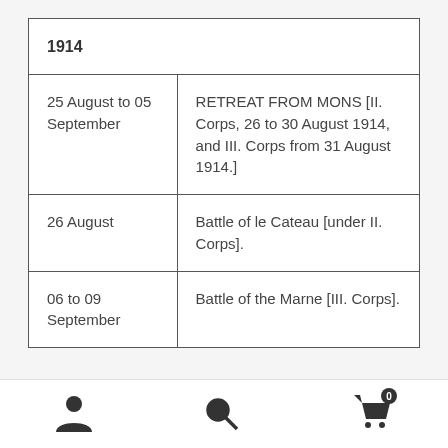| 1914 |  |
| --- | --- |
| 25 August to 05 September | RETREAT FROM MONS [II. Corps, 26 to 30 August 1914, and III. Corps from 31 August 1914.] |
| 26 August | Battle of le Cateau [under II. Corps]. |
| 06 to 09 September | Battle of the Marne [III. Corps]. |